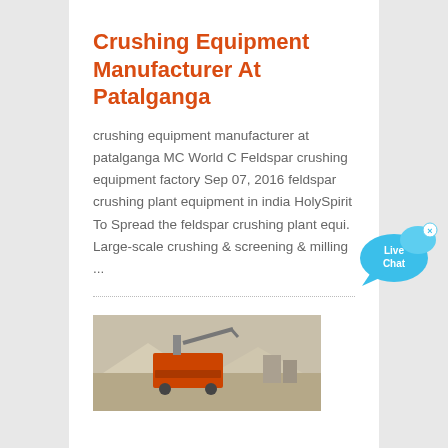Crushing Equipment Manufacturer At Patalganga
crushing equipment manufacturer at patalganga MC World C Feldspar crushing equipment factory Sep 07, 2016 feldspar crushing plant equipment in india HolySpirit To Spread the feldspar crushing plant equi. Large-scale crushing & screening & milling ...
[Figure (illustration): Live Chat speech bubble widget with cyan/blue color and close button]
[Figure (photo): Industrial crushing/screening equipment at a mining or quarrying site, orange machine visible with stockpiles in background]